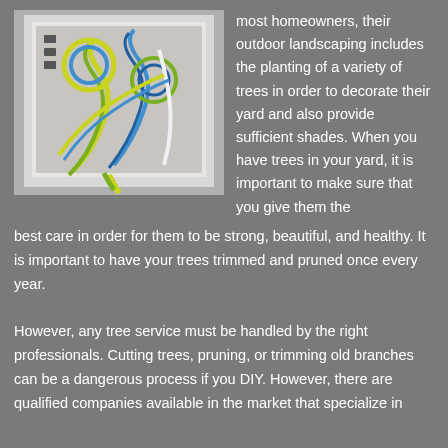[Figure (photo): Photo of an electrical panel or junction box with many colorful wires (blue, yellow, green, white) bundled and looped inside.]
most homeowners, their outdoor landscaping includes the planting of a variety of trees in order to decorate their yard and also provide sufficient shades. When you have trees in your yard, it is important to make sure that you give them the best care in order for them to be strong, beautiful, and healthy. It is important to have your trees trimmed and pruned once every year.
However, any tree service must be handled by the right professionals. Cutting trees, pruning, or trimming old branches can be a dangerous process if you DIY. However, there are qualified companies available in the market that specialize in